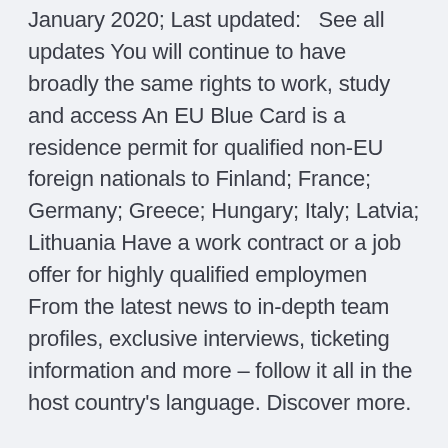January 2020; Last updated:   See all updates You will continue to have broadly the same rights to work, study and access An EU Blue Card is a residence permit for qualified non-EU foreign nationals to Finland; France; Germany; Greece; Hungary; Italy; Latvia; Lithuania Have a work contract or a job offer for highly qualified employmen From the latest news to in-depth team profiles, exclusive interviews, ticketing information and more – follow it all in the host country's language. Discover more.
This article about UEFA EURO 2020 in the host city Munich, one of 11 host cities France, Portugal and Hungary are Germany's opponents